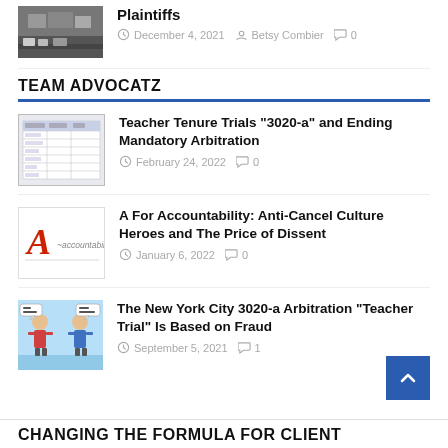[Figure (photo): Street scene photo thumbnail at top of page]
Plaintiffs
December 4, 2021  Betsy Combier  0
TEAM ADVOCATZ
[Figure (screenshot): Spreadsheet/form thumbnail]
Teacher Tenure Trials “3020-a” and Ending Mandatory Arbitration
February 24, 2022  0
[Figure (logo): A For Accountability logo with stylized A]
A For Accountability: Anti-Cancel Culture Heroes and The Price of Dissent
January 6, 2022  0
[Figure (illustration): Cartoon illustration with characters and speech bubbles]
The New York City 3020-a Arbitration “Teacher Trial” Is Based on Fraud
September 5, 2021  1
CHANGING THE FORMULA FOR CLIENT